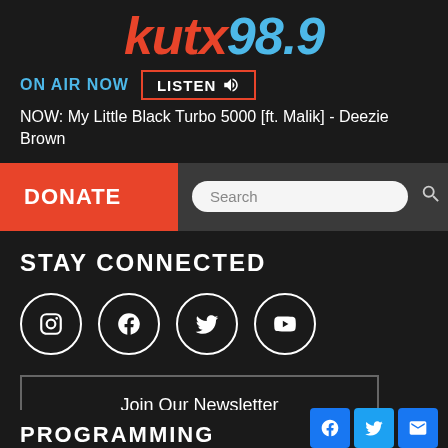[Figure (logo): KUTX 98.9 radio station logo with 'kutx' in orange/red and '98.9' in blue]
ON AIR NOW   LISTEN 🔊
NOW: My Little Black Turbo 5000 [ft. Malik] - Deezie Brown
DONATE
STAY CONNECTED
[Figure (illustration): Social media icons: Instagram, Facebook, Twitter, YouTube in circular outlines]
Join Our Newsletter
PROGRAMMING